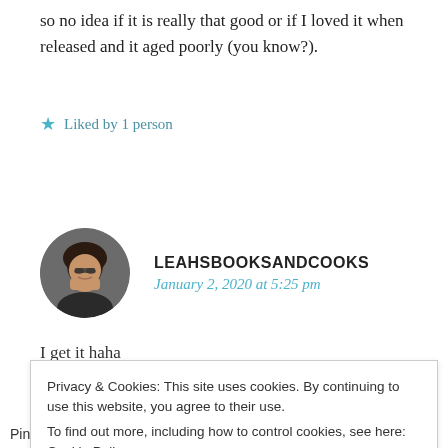so no idea if it is really that good or if I loved it when released and it aged poorly (you know?).
★ Liked by 1 person
LEAHSBOOKSANDCOOKS
January 2, 2020 at 5:25 pm
I get it haha
Privacy & Cookies: This site uses cookies. By continuing to use this website, you agree to their use.
To find out more, including how to control cookies, see here: Cookie Policy
Close and accept
Pingback: WWW Wednesday | 1.15.2020 – Caffeinated